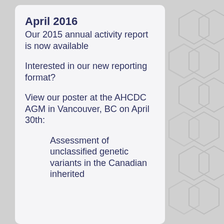April 2016
Our 2015 annual activity report is now available
Interested in our new reporting format?
View our poster at the AHCDC AGM in Vancouver, BC on April 30th:
Assessment of unclassified genetic variants in the Canadian inherited